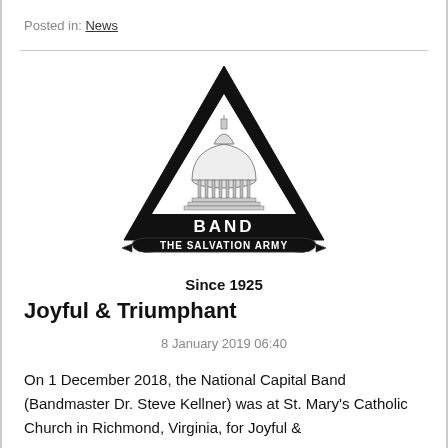Posted in: News
[Figure (logo): National Capital Band - The Salvation Army logo: a black triangle with 'NATIONAL' on the left side, 'CAPITAL' on the right side, 'BAND' across the bottom bar, a Capitol building illustration in the center, and a banner ribbon below reading 'THE SALVATION ARMY'.]
Since 1925
Joyful & Triumphant
8 January 2019 06:40
On 1 December 2018, the National Capital Band (Bandmaster Dr. Steve Kellner) was at St. Mary's Catholic Church in Richmond, Virginia, for Joyful &